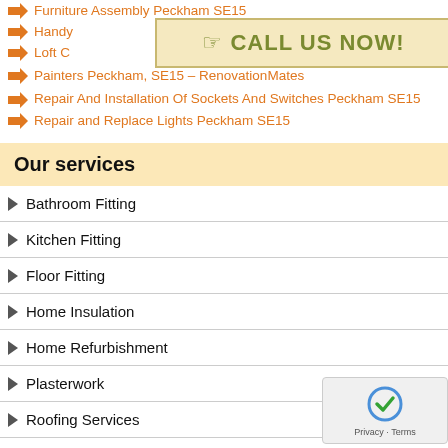Furniture Assembly Peckham SE15
[Figure (infographic): Call Us Now banner with hand pointer icon on cream/yellow background]
Handyman Peckham SE15
Loft Conversion Peckham, SE15 – Renovation Mates
Painters Peckham, SE15 – RenovationMates
Repair And Installation Of Sockets And Switches Peckham SE15
Repair and Replace Lights Peckham SE15
Our services
Bathroom Fitting
Kitchen Fitting
Floor Fitting
Home Insulation
Home Refurbishment
Plasterwork
Roofing Services